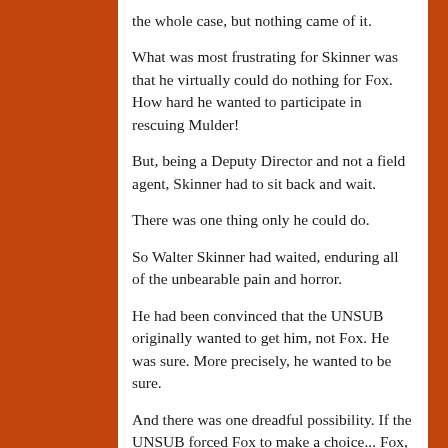the whole case, but nothing came of it.

What was most frustrating for Skinner was that he virtually could do nothing for Fox. How hard he wanted to participate in rescuing Mulder!

But, being a Deputy Director and not a field agent, Skinner had to sit back and wait.

There was one thing only he could do.

So Walter Skinner had waited, enduring all of the unbearable pain and horror.

He had been convinced that the UNSUB originally wanted to get him, not Fox. He was sure. More precisely, he wanted to be sure.

And there was one dreadful possibility. If the UNSUB forced Fox to make a choice... Fox, you don't have to be a hero, Skinner tried to tell him with his mind. You don't have to suffer. Please don't endure anything for me. Ask the SOB to call me. Fox, call me.

What if he was wrong to believe that the UNSUB